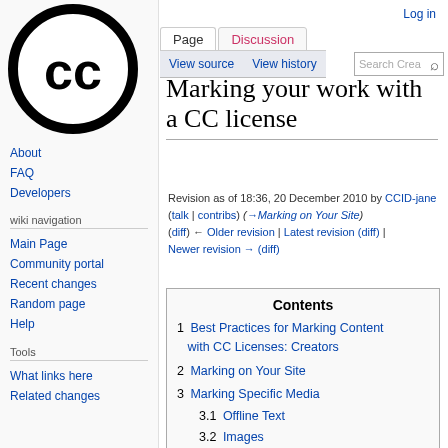[Figure (logo): Creative Commons circular logo with 'CC' letters in black and white]
About
FAQ
Developers
wiki navigation
Main Page
Community portal
Recent changes
Random page
Help
Tools
What links here
Related changes
Log in
Marking your work with a CC license
Revision as of 18:36, 20 December 2010 by CCID-jane (talk | contribs) (→Marking on Your Site)
(diff) ← Older revision | Latest revision (diff) | Newer revision → (diff)
Contents
1 Best Practices for Marking Content with CC Licenses: Creators
2 Marking on Your Site
3 Marking Specific Media
3.1 Offline Text
3.2 Images